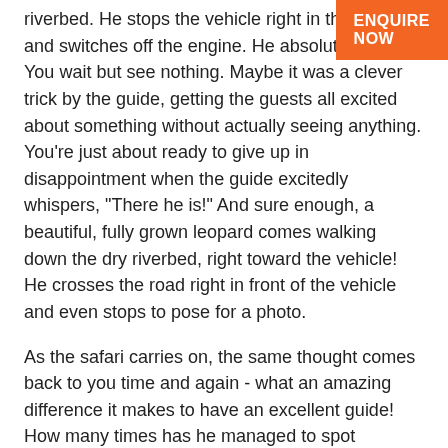[Figure (other): Orange ENQUIRE NOW button in the top right corner]
riverbed. He stops the vehicle right in the crossing and switches off the engine. He absolutely quiet. You wait but see nothing. Maybe it was a clever trick by the guide, getting the guests all excited about something without actually seeing anything. You're just about ready to give up in disappointment when the guide excitedly whispers, "There he is!" And sure enough, a beautiful, fully grown leopard comes walking down the dry riverbed, right toward the vehicle! He crosses the road right in front of the vehicle and even stops to pose for a photo.
As the safari carries on, the same thought comes back to you time and again - what an amazing difference it makes to have an excellent guide! How many times has he managed to spot something that you would surely have missed, or been able to accurately predict an animal's behaviour or movement to ensure you get an amazing sighting or photograph? You ended up seeing all of the Big